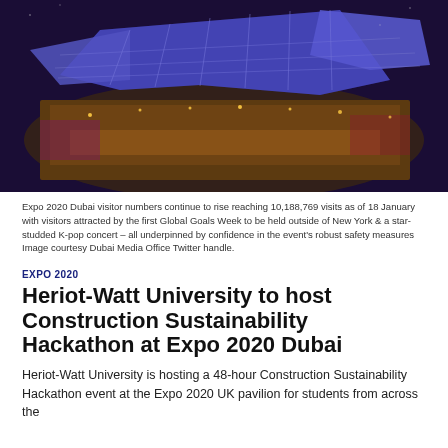[Figure (photo): Aerial night view of Expo 2020 Dubai pavilion with illuminated blue geometric glass roof structure and surrounding warm-lit areas.]
Expo 2020 Dubai visitor numbers continue to rise reaching 10,188,769 visits as of 18 January with visitors attracted by the first Global Goals Week to be held outside of New York & a star-studded K-pop concert – all underpinned by confidence in the event's robust safety measures Image courtesy Dubai Media Office Twitter handle.
EXPO 2020
Heriot-Watt University to host Construction Sustainability Hackathon at Expo 2020 Dubai
Heriot-Watt University is hosting a 48-hour Construction Sustainability Hackathon event at the Expo 2020 UK pavilion for students from across the